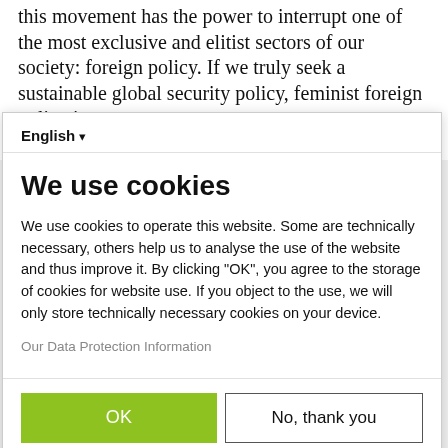this movement has the power to interrupt one of the most exclusive and elitist sectors of our society: foreign policy. If we truly seek a sustainable global security policy, feminist foreign policy is a must.
This article is part of our special on "Feminist Foreign
English ▾
We use cookies
We use cookies to operate this website. Some are technically necessary, others help us to analyse the use of the website and thus improve it. By clicking "OK", you agree to the storage of cookies for website use. If you object to the use, we will only store technically necessary cookies on your device.
Our Data Protection Information
OK
No, thank you
Powered by PIWIK PRO